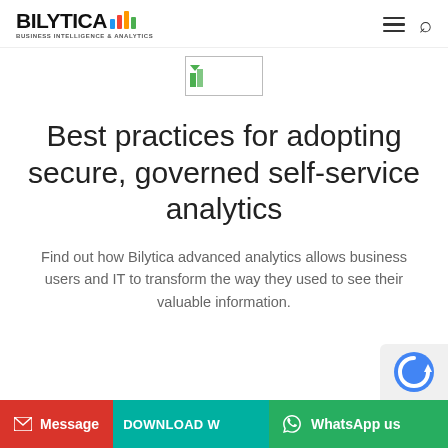BILYTICA BUSINESS INTELLIGENCE & ANALYTICS
[Figure (logo): Bilytica logo thumbnail with small green flag icon]
Best practices for adopting secure, governed self-service analytics
Find out how Bilytica advanced analytics allows business users and IT to transform the way they used to see their valuable information.
[Figure (other): reCAPTCHA widget in bottom right corner]
Message | DOWNLOAD W... | WhatsApp us